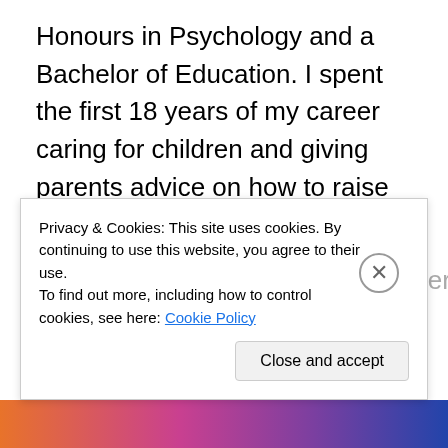Honours in Psychology and a Bachelor of Education. I spent the first 18 years of my career caring for children and giving parents advice on how to raise and nurture their children. So I find it strangely ironic that I am now a mom who is finding it hard to discipline my own child. I know that she is spoiled sometimes. I hate to refuse her when she wants the simple things. Maybe we are giving her mixed messages and she needs more consistency? For example, sometimes when she runs away in a grocery store, her dad chases after her and makes her giggle with joy and anticipation. Now, whenever we go to any store
Privacy & Cookies: This site uses cookies. By continuing to use this website, you agree to their use. To find out more, including how to control cookies, see here: Cookie Policy
Close and accept